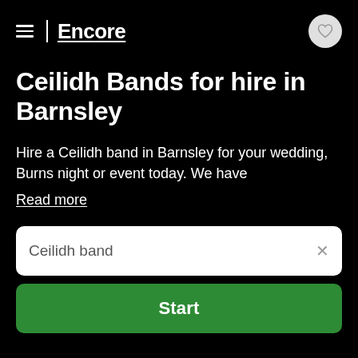Encore
Ceilidh Bands for hire in Barnsley
Hire a Ceilidh band in Barnsley for your wedding, Burns night or event today. We have
Read more
Ceilidh band
Start